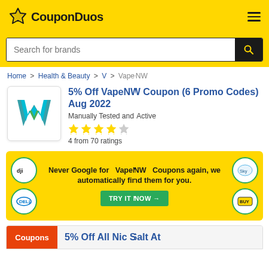CouponDuos
Search for brands
Home > Health & Beauty > V > VapeNW
5% Off VapeNW Coupon (6 Promo Codes) Aug 2022
Manually Tested and Active
4 from 70 ratings
Never Google for VapeNW Coupons again, we automatically find them for you.
TRY IT NOW →
Coupons
5% Off All Nic Salt At